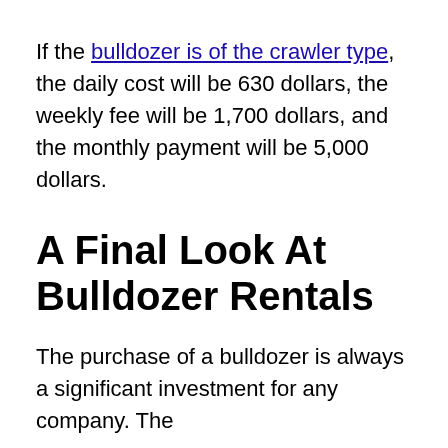If the bulldozer is of the crawler type, the daily cost will be 630 dollars, the weekly fee will be 1,700 dollars, and the monthly payment will be 5,000 dollars.
A Final Look At Bulldozer Rentals
The purchase of a bulldozer is always a significant investment for any company. The